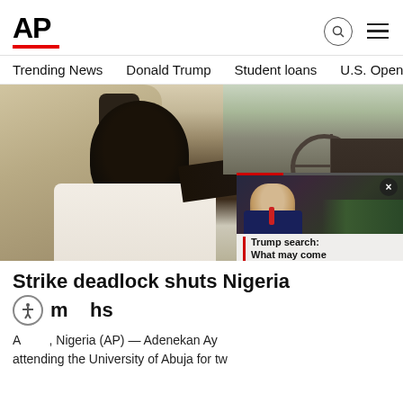AP
Trending News   Donald Trump   Student loans   U.S. Open Tenn
[Figure (photo): Man in white shirt driving a car, hand on steering wheel, viewed from passenger side. Urban background visible through car window.]
[Figure (screenshot): Video overlay thumbnail showing a man in a suit with a red progress bar at top, and caption reading 'Trump search: What may come next in inquiry wi...']
Strike deadlock shuts Nigeria universities for months
A____, Nigeria (AP) — Adenekan Ay__ attending the University of Abuja for tw